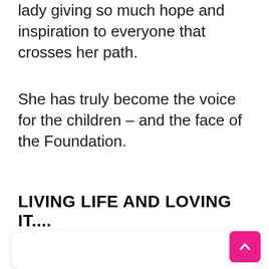lady giving so much hope and inspiration to everyone that crosses her path.
She has truly become the voice for the children – and the face of the Foundation.
LIVING LIFE AND LOVING IT....
[Figure (other): A white rounded card panel with a pink scroll-to-top button in the top-right corner containing an upward chevron arrow.]